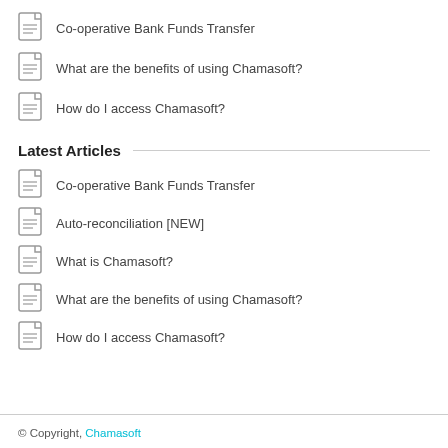Co-operative Bank Funds Transfer
What are the benefits of using Chamasoft?
How do I access Chamasoft?
Latest Articles
Co-operative Bank Funds Transfer
Auto-reconciliation [NEW]
What is Chamasoft?
What are the benefits of using Chamasoft?
How do I access Chamasoft?
© Copyright, Chamasoft